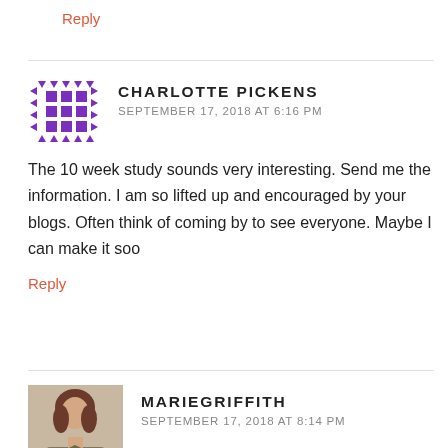Reply
CHARLOTTE PICKENS
SEPTEMBER 17, 2018 AT 6:16 PM
The 10 week study sounds very interesting.  Send me the information. I am so lifted up and encouraged by your blogs. Often think of coming by to see everyone. Maybe I can make it soo
Reply
MARIEGRIFFITH
SEPTEMBER 17, 2018 AT 8:14 PM